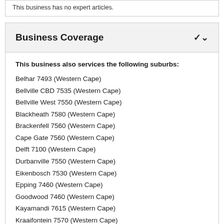This business has no expert articles.
Business Coverage
This business also services the following suburbs:
Belhar 7493 (Western Cape)
Bellville CBD 7535 (Western Cape)
Bellville West 7550 (Western Cape)
Blackheath 7580 (Western Cape)
Brackenfell 7560 (Western Cape)
Cape Gate 7560 (Western Cape)
Delft 7100 (Western Cape)
Durbanville 7550 (Western Cape)
Eikenbosch 7530 (Western Cape)
Epping 7460 (Western Cape)
Goodwood 7460 (Western Cape)
Kayamandi 7615 (Western Cape)
Kraaifontein 7570 (Western Cape)
Kuils River 7580 (Western Cape)